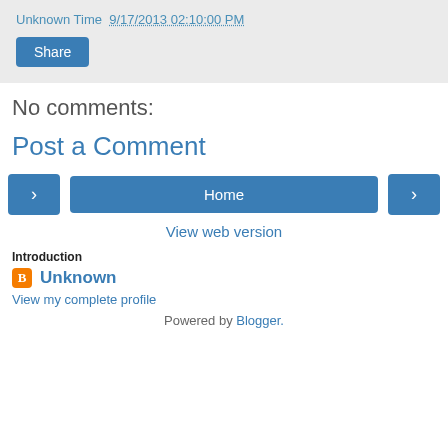Unknown Time  9/17/2013 02:10:00 PM
Share
No comments:
Post a Comment
< Home >
View web version
Introduction
Unknown
View my complete profile
Powered by Blogger.